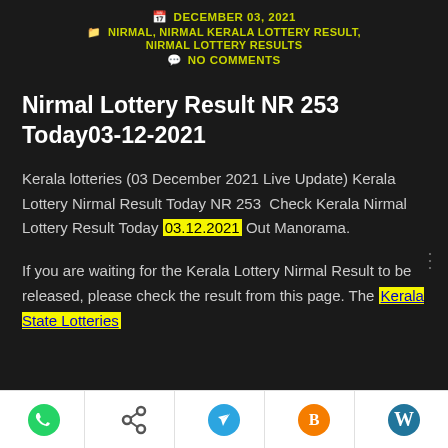DECEMBER 03, 2021
NIRMAL, NIRMAL KERALA LOTTERY RESULT, NIRMAL LOTTERY RESULTS
NO COMMENTS
Nirmal Lottery Result NR 253 Today03-12-2021
Kerala lotteries (03 December 2021 Live Update) Kerala Lottery Nirmal Result Today NR 253  Check Kerala Nirmal Lottery Result Today 03.12.2021 Out Manorama.
If you are waiting for the Kerala Lottery Nirmal Result to be released, please check the result from this page. The Kerala State Lotteries